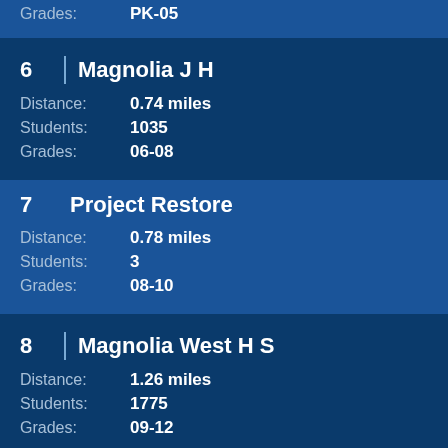Grades: PK-05
6  Magnolia J H
Distance: 0.74 miles
Students: 1035
Grades: 06-08
7  Project Restore
Distance: 0.78 miles
Students: 3
Grades: 08-10
8  Magnolia West H S
Distance: 1.26 miles
Students: 1775
Grades: 09-12